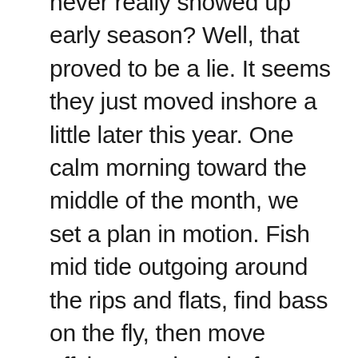never really showed up early season? Well, that proved to be a lie. It seems they just moved inshore a little later this year. One calm morning toward the middle of the month, we set a plan in motion. Fish mid tide outgoing around the rips and flats, find bass on the fly, then move offshore an hour before slack to load up on haddock. Now let me say, this is the type of plan we often conjure in our heads and illustrate in manic groups text chats the days leading up to a trip. It's kind of the perfect day of fishing, if you were to ask me. Get your sporting light tackle and fly striper fix in, sight casting to breaking fish or working flies off soft structure points. Then move out and load up a few